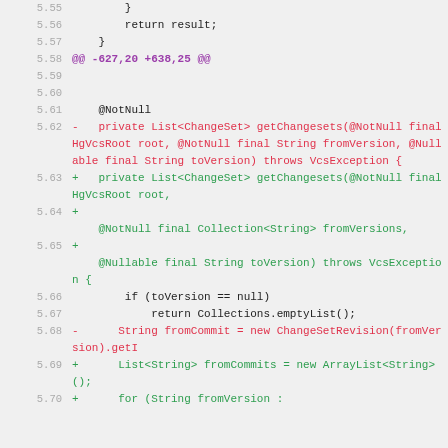[Figure (screenshot): Code diff view showing lines 5.55 through 5.70 of a Java source file, with removed lines in red, added lines in green, a hunk header in purple, and context lines in dark gray.]